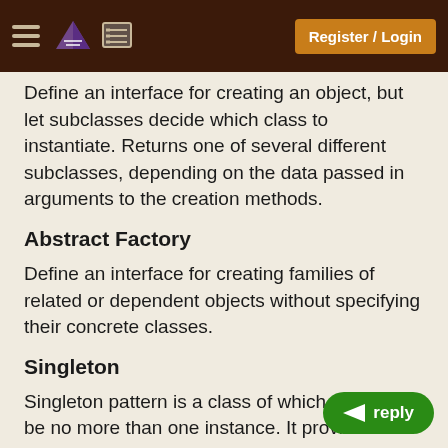Register / Login
Define an interface for creating an object, but let subclasses decide which class to instantiate. Returns one of several different subclasses, depending on the data passed in arguments to the creation methods.
Abstract Factory
Define an interface for creating families of related or dependent objects without specifying their concrete classes.
Singleton
Singleton pattern is a class of which there may be no more than one instance. It provides a single global point of access to that instance. For ex. Print S
Builder